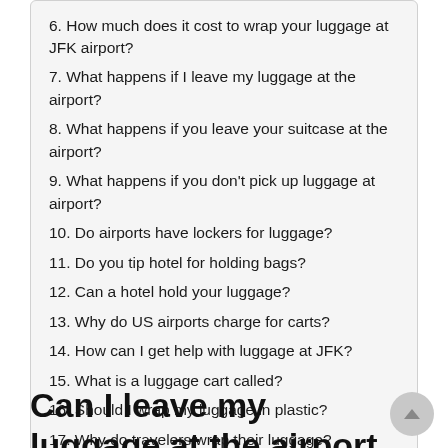6. How much does it cost to wrap your luggage at JFK airport?
7. What happens if I leave my luggage at the airport?
8. What happens if you leave your suitcase at the airport?
9. What happens if you don't pick up luggage at airport?
10. Do airports have lockers for luggage?
11. Do you tip hotel for holding bags?
12. Can a hotel hold your luggage?
13. Why do US airports charge for carts?
14. How can I get help with luggage at JFK?
15. What is a luggage cart called?
16. Should I wrap my luggage in plastic?
17. Why do travelers wrap their luggage?
Can I leave my luggage at the airport JFK?